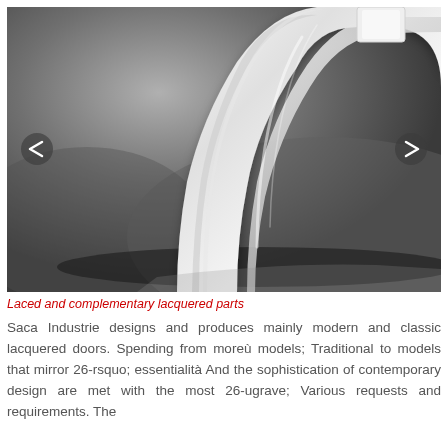[Figure (photo): Close-up photo of white lacquered molding/trim pieces with curved and angular profiles, shown against a dark gray gradient background. Navigation arrows visible on left and right sides.]
Laced and complementary lacquered parts
Saca Industrie designs and produces mainly modern and classic lacquered doors. Spending from moreù models; Traditional to models that mirror 26-rsquo; essentialità And the sophistication of contemporary design are met with the most 26-ugrave; Various requests and requirements. The